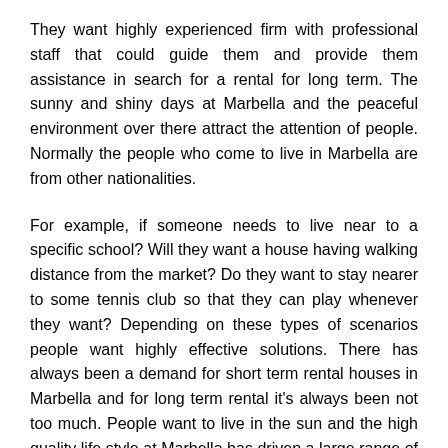They want highly experienced firm with professional staff that could guide them and provide them assistance in search for a rental for long term. The sunny and shiny days at Marbella and the peaceful environment over there attract the attention of people. Normally the people who come to live in Marbella are from other nationalities.
For example, if someone needs to live near to a specific school? Will they want a house having walking distance from the market? Do they want to stay nearer to some tennis club so that they can play whenever they want? Depending on these types of scenarios people want highly effective solutions. There has always been a demand for short term rental houses in Marbella and for long term rental it's always been not too much. People want to live in the sun and the high quality life style at Marbella has driven a large range of people of different nationalities from all over the world to Marbella.